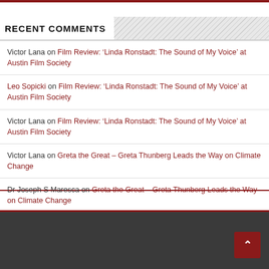RECENT COMMENTS
Victor Lana on Film Review: ‘Linda Ronstadt: The Sound of My Voice’ at Austin Film Society
Leo Sopicki on Film Review: ‘Linda Ronstadt: The Sound of My Voice’ at Austin Film Society
Victor Lana on Film Review: ‘Linda Ronstadt: The Sound of My Voice’ at Austin Film Society
Victor Lana on Greta the Great – Greta Thunberg Leads the Way on Climate Change
Dr Joseph S Maresca on Greta the Great – Greta Thunberg Leads the Way on Climate Change